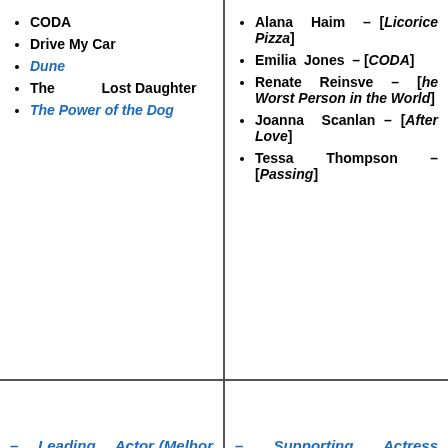CODA
Drive My Car
Dune
The Lost Daughter
The Power of the Dog
Alana Haim – [Licorice Pizza]
Emilia Jones – [CODA]
Renate Reinsve – [he Worst Person in the World]
Joanna Scanlan – [After Love]
Tessa Thompson – [Passing]
– Leading Actor (Melhor Ator)
Adeel Akhtar – [Ali & Ava]
– Supporting Actress (Melhor Atriz Secundária)